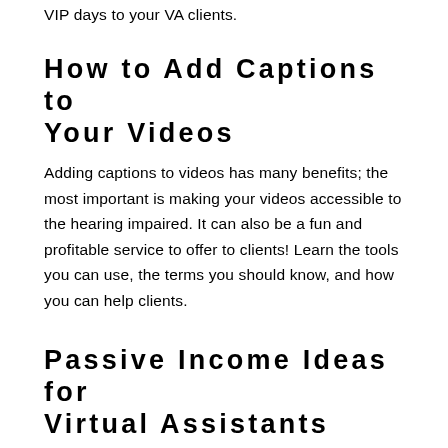VIP days to your VA clients.
How to Add Captions to Your Videos
Adding captions to videos has many benefits; the most important is making your videos accessible to the hearing impaired. It can also be a fun and profitable service to offer to clients! Learn the tools you can use, the terms you should know, and how you can help clients.
Passive Income Ideas for Virtual Assistants
Passive income allows you to make money